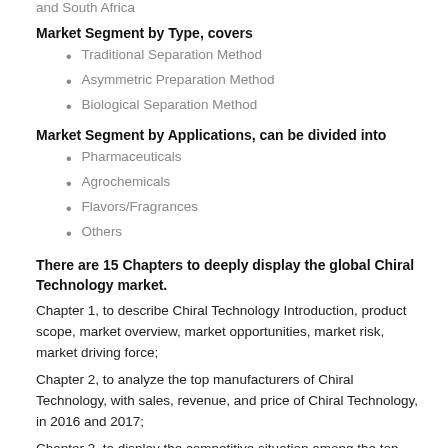and South Africa
Market Segment by Type, covers
Traditional Separation Method
Asymmetric Preparation Method
Biological Separation Method
Market Segment by Applications, can be divided into
Pharmaceuticals
Agrochemicals
Flavors/Fragrances
Others
There are 15 Chapters to deeply display the global Chiral Technology market.
Chapter 1, to describe Chiral Technology Introduction, product scope, market overview, market opportunities, market risk, market driving force;
Chapter 2, to analyze the top manufacturers of Chiral Technology, with sales, revenue, and price of Chiral Technology, in 2016 and 2017;
Chapter 3, to display the competitive situation among the top manufacturers, with sales, revenue and market share in 2016 and 2017;